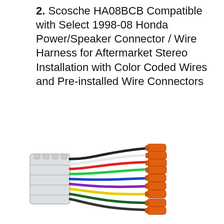2. Scosche HA08BCB Compatible with Select 1998-08 Honda Power/Speaker Connector / Wire Harness for Aftermarket Stereo Installation with Color Coded Wires and Pre-installed Wire Connectors
[Figure (photo): Scosche HA08BCB wire harness for Honda vehicles. Shows a white rectangular plastic connector on the left with multiple color-coded wires (black, yellow, green, blue, purple, white, red, green) fanning out to the right, each ending in orange/copper crimp connectors.]